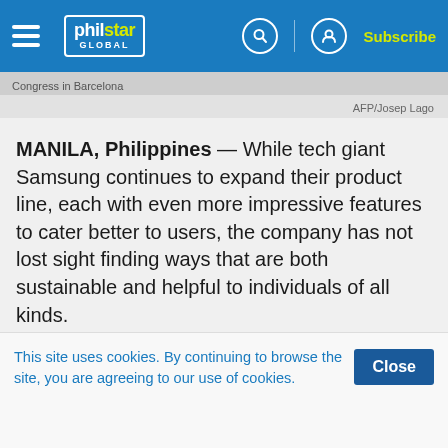philstar GLOBAL | Subscribe
Congress in Barcelona
AFP/Josep Lago
MANILA, Philippines — While tech giant Samsung continues to expand their product line, each with even more impressive features to cater better to users, the company has not lost sight finding ways that are both sustainable and helpful to individuals of all kinds.
At their 2022 Visual Display Virtual Forum where
This site uses cookies. By continuing to browse the site, you are agreeing to our use of cookies.